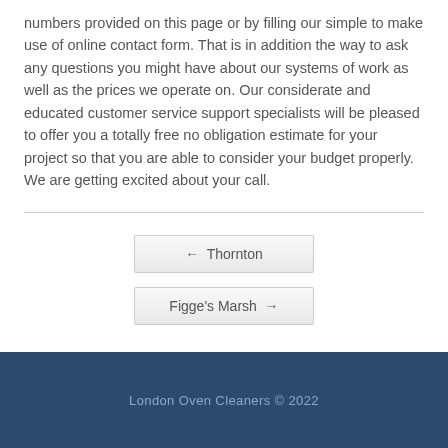numbers provided on this page or by filling our simple to make use of online contact form. That is in addition the way to ask any questions you might have about our systems of work as well as the prices we operate on. Our considerate and educated customer service support specialists will be pleased to offer you a totally free no obligation estimate for your project so that you are able to consider your budget properly. We are getting excited about your call.
← Thornton
Figge's Marsh →
London Oven Cleaners © 2022